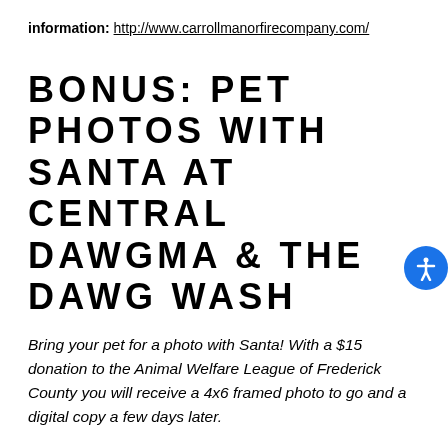information: http://www.carrollmanorfirecompany.com/
BONUS: PET PHOTOS WITH SANTA AT CENTRAL DAWGMA & THE DAWG WASH
Bring your pet for a photo with Santa! With a $15 donation to the Animal Welfare League of Frederick County you will receive a 4x6 framed photo to go and a digital copy a few days later.
Date: Saturday & Sunday,